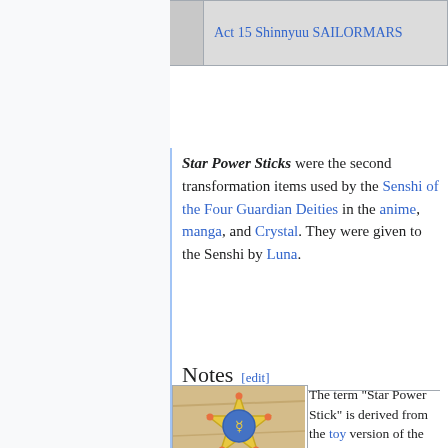| First Appearance (manga): |  |
| --- | --- |
| First Appearance (manga): | Act 15 Shinnyuu SAILORMARS |
Star Power Sticks were the second transformation items used by the Senshi of the Four Guardian Deities in the anime, manga, and Crystal. They were given to the Senshi by Luna.
Notes [edit]
[Figure (photo): Photo of Sailor Mercury's Star Power Stick toy - a gold star-shaped wand with blue gem and blue handle, produced by Bandai]
Sailor Mercury's Star Power Stick
The term "Star Power Stick" is derived from the toy version of the item produced by Bandai. The items were never named specifically in the series or guides